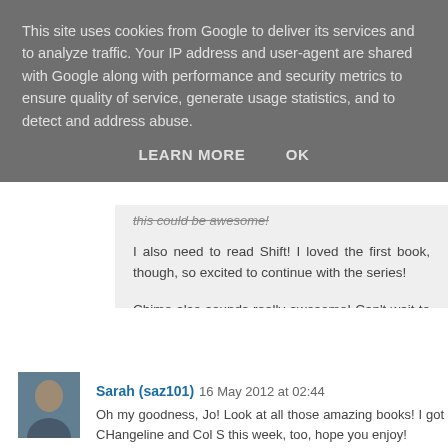This site uses cookies from Google to deliver its services and to analyze traffic. Your IP address and user-agent are shared with Google along with performance and security metrics to ensure quality of service, generate usage statistics, and to detect and address abuse.
LEARN MORE    OK
this could be awesome!
I also need to read Shift! I loved the first book, though, so excited to continue with the series!
Chime also sounds really awesome! Can't wait to read it! :)
Reply
Sarah (saz101)  16 May 2012 at 02:44
Oh my goodness, Jo! Look at all those amazing books! I got CHangeline and Col S this week, too, hope you enjoy!